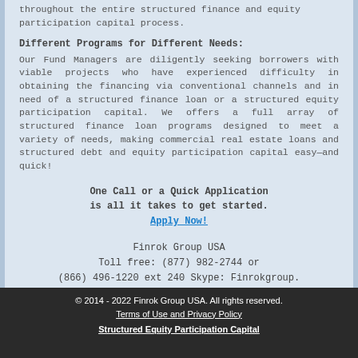throughout the entire structured finance and equity participation capital process.
Different Programs for Different Needs:
Our Fund Managers are diligently seeking borrowers with viable projects who have experienced difficulty in obtaining the financing via conventional channels and in need of a structured finance loan or a structured equity participation capital. We offers a full array of structured finance loan programs designed to meet a variety of needs, making commercial real estate loans and structured debt and equity participation capital easy—and quick!
One Call or a Quick Application is all it takes to get started. Apply Now!
Finrok Group USA
Toll free: (877) 982-2744 or (866) 496-1220 ext 240 Skype: Finrokgroup.
Mike McCalla, Managing Director.
Contact Us
© 2014 - 2022 Finrok Group USA. All rights reserved.
Terms of Use and Privacy Policy
Structured Equity Participation Capital